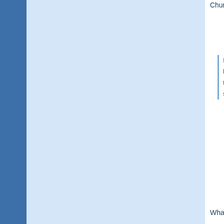Churchill knew the way to Constantinople was o... ammunition shortages. Admiral de Robeck retre...
If Admiral de Robeck, who had led his fleet in... had plunged back into battle for a second day... the enemy forces withdraw and melt away...T... steamed into Constantinople without oppositi...
What came next was a similar example of misse...
At dawn on 25 April 1915, the British, Domini... waded ashore onto six narrow, unconnected b... peninsula. The Turks, who had known when b... would attack, were taken by surprise and prob... overwhelmed that day.
....
The Allies held an overwhelming numerical su... of Liman's forces were held in reserve at a dis... battlefield--and at beaches Y, X and S the inv... exploited their surprise attack by advancing th... Turkish garrison in the vicinity.
By 26 April the situation had changed. Turki...